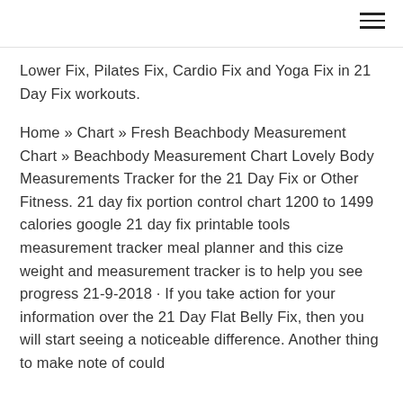Lower Fix, Pilates Fix, Cardio Fix and Yoga Fix in 21 Day Fix workouts.
Home » Chart » Fresh Beachbody Measurement Chart » Beachbody Measurement Chart Lovely Body Measurements Tracker for the 21 Day Fix or Other Fitness. 21 day fix portion control chart 1200 to 1499 calories google 21 day fix printable tools measurement tracker meal planner and this cize weight and measurement tracker is to help you see progress 21-9-2018 · If you take action for your information over the 21 Day Flat Belly Fix, then you will start seeing a noticeable difference. Another thing to make note of could be the 21 Day Flat Belly Fix Tea, which could be...